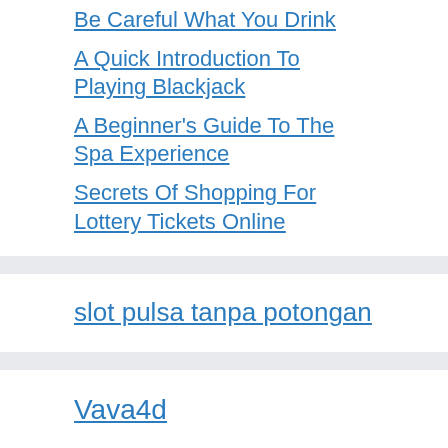Be Careful What You Drink
A Quick Introduction To Playing Blackjack
A Beginner's Guide To The Spa Experience
Secrets Of Shopping For Lottery Tickets Online
slot pulsa tanpa potongan
Vava4d
link t88